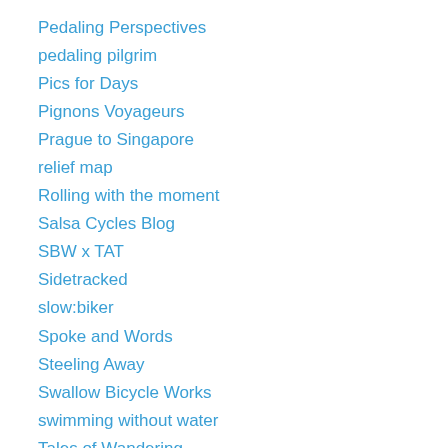Pedaling Perspectives
pedaling pilgrim
Pics for Days
Pignons Voyageurs
Prague to Singapore
relief map
Rolling with the moment
Salsa Cycles Blog
SBW x TAT
Sidetracked
slow:biker
Spoke and Words
Steeling Away
Swallow Bicycle Works
swimming without water
Tales of Wandering
Tales on Tyres
The Adventures of Megan&Co.
The Chronicles of Harnia
the republic of doom